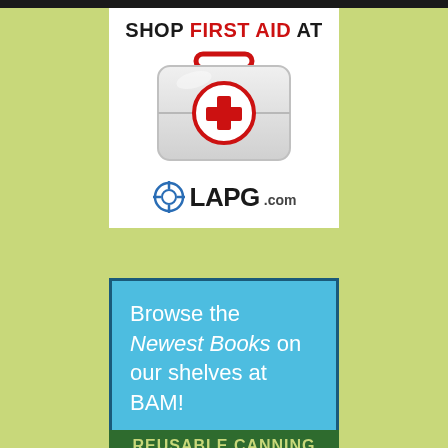[Figure (illustration): LAPG.com advertisement for first aid products. Shows a first aid kit (white suitcase with red cross circle) and the text SHOP FIRST AID AT LAPG.COM with a crosshair logo.]
[Figure (illustration): Books-A-Million advertisement on sky blue background: 'Browse the Newest Books on our shelves at BAM! BooksAMillion.com >']
[Figure (illustration): Green banner ad for Reusable Canning Lids in yellow-green text on dark green background.]